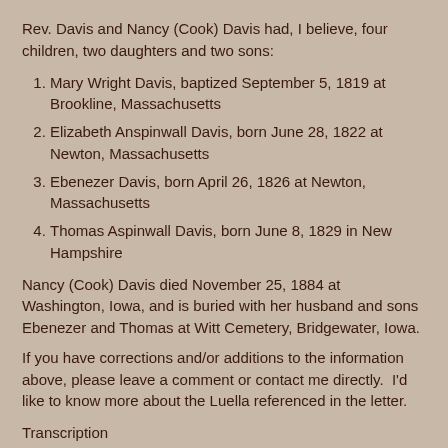Rev. Davis and Nancy (Cook) Davis had, I believe, four children, two daughters and two sons:
Mary Wright Davis, baptized September 5, 1819 at Brookline, Massachusetts
Elizabeth Anspinwall Davis, born June 28, 1822 at Newton, Massachusetts
Ebenezer Davis, born April 26, 1826 at Newton, Massachusetts
Thomas Aspinwall Davis, born June 8, 1829 in New Hampshire
Nancy (Cook) Davis died November 25, 1884 at Washington, Iowa, and is buried with her husband and sons Ebenezer and Thomas at Witt Cemetery, Bridgewater, Iowa.
If you have corrections and/or additions to the information above, please leave a comment or contact me directly.  I'd like to know more about the Luella referenced in the letter.
Transcription